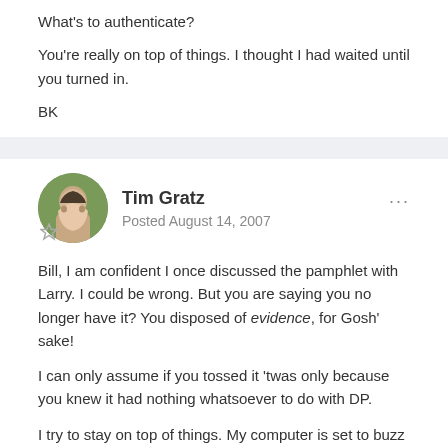What's to authenticate?
You're really on top of things. I thought I had waited until you turned in.
BK
Tim Gratz
Posted August 14, 2007
Bill, I am confident I once discussed the pamphlet with Larry. I could be wrong. But you are saying you no longer have it? You disposed of evidence, for Gosh' sake!
I can only assume if you tossed it 'twas only because you knew it had nothing whatsoever to do with DP.
I try to stay on top of things. My computer is set to buzz and wake me whenever there is a new post to which I should respond--that is, any with the names Richard Helms, Desmond Fitzgerald, E. Howard Hunt, David Atlee Phillips, George Joannides, etc etc. The device is not yet on the market, it's a